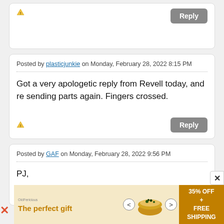⚠ [Reply button]
Posted by plasticjunkie on Monday, February 28, 2022 8:15 PM
Got a very apologetic reply from Revell today, and re sending parts again. Fingers crossed.
⚠ [Reply button]
Posted by GAF on Monday, February 28, 2022 9:56 PM
PJ,
Hold off on the canopy then?
[Figure (other): Advertisement banner: The perfect gift, 35% OFF + FREE SHIPPING, food product with bowl image]